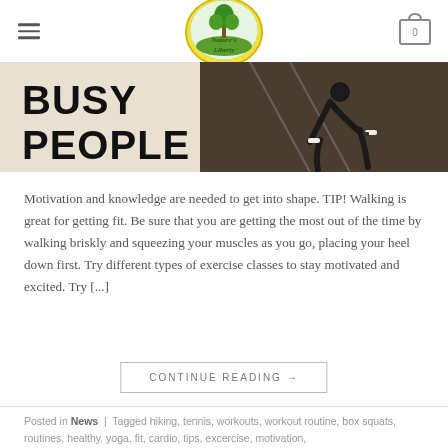Nature's Liberty — navigation header with hamburger menu, logo, and cart icon showing 0
[Figure (photo): Banner image showing bold text 'BUSY PEOPLE' on left with a person in sprint start position on right, dark athletic photo]
Motivation and knowledge are needed to get into shape. TIP! Walking is great for getting fit. Be sure that you are getting the most out of the time by walking briskly and squeezing your muscles as you go, placing your heel down first. Try different types of exercise classes to stay motivated and excited. Try [...]
CONTINUE READING →
Posted in News  |  Tagged hiking, tennis, workouts, workout routine, box squats, routines, healthy, yoga, fit, cardio, tips, excercise, motivation,